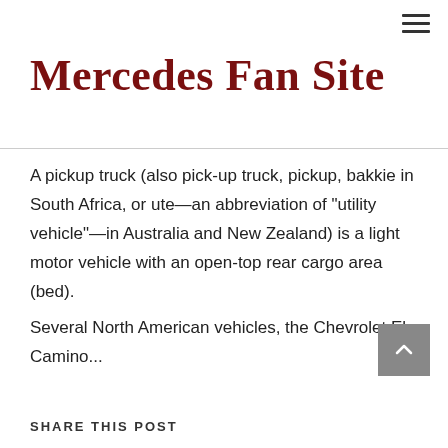Mercedes Fan Site
A pickup truck (also pick-up truck, pickup, bakkie in South Africa, or ute—an abbreviation of "utility vehicle"—in Australia and New Zealand) is a light motor vehicle with an open-top rear cargo area (bed).
Several North American vehicles, the Chevrolet El Camino...
SHARE THIS POST